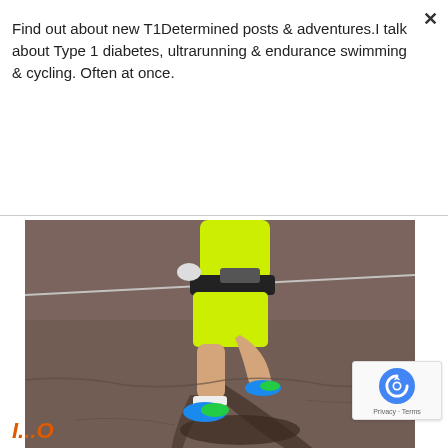Find out about new T1Determined posts & adventures.I talk about Type 1 diabetes, ultrarunning & endurance swimming & cycling. Often at once.
Subscribe
[Figure (photo): A runner wearing neon yellow/green shirt and shorts with blue and green shoes running on a dark asphalt surface. A black belt pack is visible. The runner's shadow is cast on the road.]
Privacy · Terms
I...O